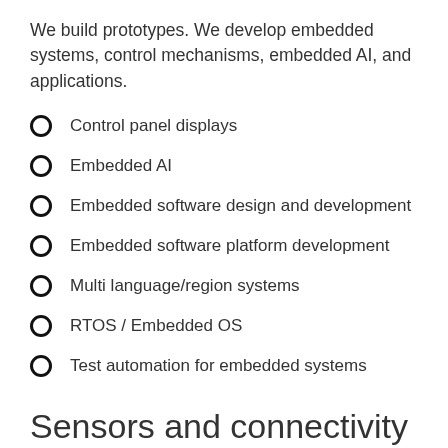We build prototypes. We develop embedded systems, control mechanisms, embedded AI, and applications.
Control panel displays
Embedded AI
Embedded software design and development
Embedded software platform development
Multi language/region systems
RTOS / Embedded OS
Test automation for embedded systems
Sensors and connectivity development